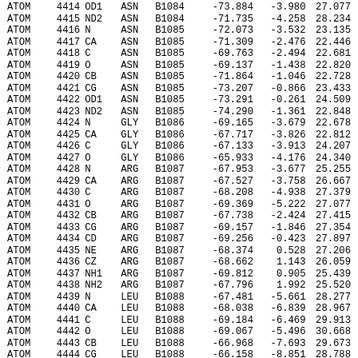| type | serial | name | res | chain_res | x | y | z |
| --- | --- | --- | --- | --- | --- | --- | --- |
| ATOM | 4414 | OD1 | ASN | B1084 | -73.884 | -3.980 | 27.077 |
| ATOM | 4415 | ND2 | ASN | B1084 | -71.735 | -4.258 | 28.234 |
| ATOM | 4416 | N | ASN | B1085 | -72.073 | -3.532 | 23.135 |
| ATOM | 4417 | CA | ASN | B1085 | -71.309 | -2.476 | 22.446 |
| ATOM | 4418 | C | ASN | B1085 | -69.763 | -2.494 | 22.681 |
| ATOM | 4419 | O | ASN | B1085 | -69.137 | -1.438 | 22.820 |
| ATOM | 4420 | CB | ASN | B1085 | -71.864 | -1.046 | 22.728 |
| ATOM | 4421 | CG | ASN | B1085 | -73.207 | -0.866 | 23.433 |
| ATOM | 4422 | OD1 | ASN | B1085 | -73.291 | -0.261 | 24.509 |
| ATOM | 4423 | ND2 | ASN | B1085 | -74.290 | -1.361 | 22.848 |
| ATOM | 4424 | N | GLY | B1086 | -69.165 | -3.679 | 22.678 |
| ATOM | 4425 | CA | GLY | B1086 | -67.717 | -3.826 | 22.812 |
| ATOM | 4426 | C | GLY | B1086 | -67.133 | -3.913 | 24.207 |
| ATOM | 4427 | O | GLY | B1086 | -65.933 | -4.176 | 24.340 |
| ATOM | 4428 | N | ARG | B1087 | -67.953 | -3.677 | 25.255 |
| ATOM | 4429 | CA | ARG | B1087 | -67.527 | -3.758 | 26.667 |
| ATOM | 4430 | C | ARG | B1087 | -68.208 | -4.938 | 27.379 |
| ATOM | 4431 | O | ARG | B1087 | -69.369 | -5.222 | 27.077 |
| ATOM | 4432 | CB | ARG | B1087 | -67.738 | -2.424 | 27.415 |
| ATOM | 4433 | CG | ARG | B1087 | -69.157 | -1.846 | 27.354 |
| ATOM | 4434 | CD | ARG | B1087 | -69.256 | -0.423 | 27.897 |
| ATOM | 4435 | NE | ARG | B1087 | -68.374 | 0.528 | 27.206 |
| ATOM | 4436 | CZ | ARG | B1087 | -68.662 | 1.143 | 26.059 |
| ATOM | 4437 | NH1 | ARG | B1087 | -69.812 | 0.905 | 25.439 |
| ATOM | 4438 | NH2 | ARG | B1087 | -67.796 | 1.992 | 25.520 |
| ATOM | 4439 | N | LEU | B1088 | -67.481 | -5.661 | 28.277 |
| ATOM | 4440 | CA | LEU | B1088 | -68.038 | -6.839 | 28.967 |
| ATOM | 4441 | C | LEU | B1088 | -69.184 | -6.469 | 29.913 |
| ATOM | 4442 | O | LEU | B1088 | -69.067 | -5.496 | 30.668 |
| ATOM | 4443 | CB | LEU | B1088 | -66.968 | -7.693 | 29.673 |
| ATOM | 4444 | CG | LEU | B1088 | -66.158 | -8.851 | 28.788 |